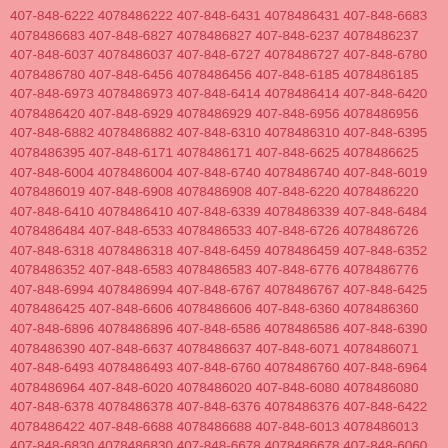407-848-6222 4078486222 407-848-6431 4078486431 407-848-6683 4078486683 407-848-6827 4078486827 407-848-6237 4078486237 407-848-6037 4078486037 407-848-6727 4078486727 407-848-6780 4078486780 407-848-6456 4078486456 407-848-6185 4078486185 407-848-6973 4078486973 407-848-6414 4078486414 407-848-6420 4078486420 407-848-6929 4078486929 407-848-6956 4078486956 407-848-6882 4078486882 407-848-6310 4078486310 407-848-6395 4078486395 407-848-6171 4078486171 407-848-6625 4078486625 407-848-6004 4078486004 407-848-6740 4078486740 407-848-6019 4078486019 407-848-6908 4078486908 407-848-6220 4078486220 407-848-6410 4078486410 407-848-6339 4078486339 407-848-6484 4078486484 407-848-6533 4078486533 407-848-6726 4078486726 407-848-6318 4078486318 407-848-6459 4078486459 407-848-6352 4078486352 407-848-6583 4078486583 407-848-6776 4078486776 407-848-6994 4078486994 407-848-6767 4078486767 407-848-6425 4078486425 407-848-6606 4078486606 407-848-6360 4078486360 407-848-6896 4078486896 407-848-6586 4078486586 407-848-6390 4078486390 407-848-6637 4078486637 407-848-6071 4078486071 407-848-6493 4078486493 407-848-6760 4078486760 407-848-6964 4078486964 407-848-6020 4078486020 407-848-6080 4078486080 407-848-6378 4078486378 407-848-6376 4078486376 407-848-6422 4078486422 407-848-6688 4078486688 407-848-6013 4078486013 407-848-6830 4078486830 407-848-6678 4078486678 407-848-6060 4078486060 407-848-6693 4078486693 407-848-6160 4078486160 407-848-6844 4078486844 407-848-6856 4078486856 407-848-6621 4078486621